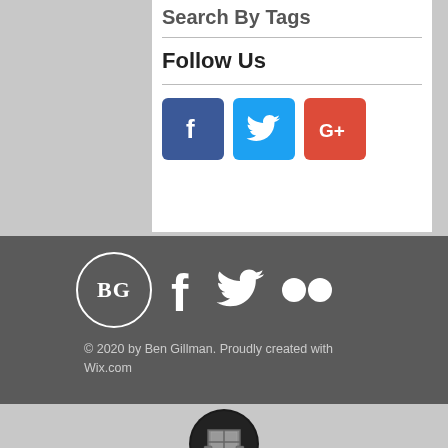Search By Tags
Follow Us
[Figure (infographic): Social media icons: Facebook (blue), Twitter (light blue), Google+ (red)]
[Figure (logo): Footer with BG circle logo, Facebook icon, Twitter bird icon, Flickr dots icon, all white on dark gray background]
© 2020 by Ben Gillman. Proudly created with Wix.com
[Figure (illustration): Shield logo icon: dark oval with metallic shield design]